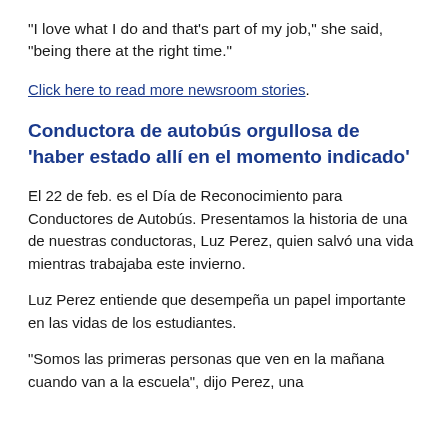"I love what I do and that's part of my job," she said, "being there at the right time."
Click here to read more newsroom stories.
Conductora de autobús orgullosa de 'haber estado allí en el momento indicado'
El 22 de feb. es el Día de Reconocimiento para Conductores de Autobús. Presentamos la historia de una de nuestras conductoras, Luz Perez, quien salvó una vida mientras trabajaba este invierno.
Luz Perez entiende que desempeña un papel importante en las vidas de los estudiantes.
"Somos las primeras personas que ven en la mañana cuando van a la escuela", dijo Perez, una